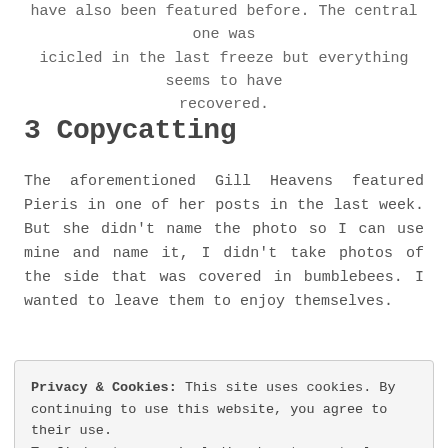have also been featured before. The central one was icicled in the last freeze but everything seems to have recovered.
3 Copycatting
The aforementioned Gill Heavens featured Pieris in one of her posts in the last week. But she didn't name the photo so I can use mine and name it, I didn't take photos of the side that was covered in bumblebees. I wanted to leave them to enjoy themselves.
[Figure (photo): Close-up photo of Pieris plant with white flower buds and green leaves]
Privacy & Cookies: This site uses cookies. By continuing to use this website, you agree to their use.
To find out more, including how to control cookies, see here: Cookie Policy
Close and accept
[Figure (photo): Bottom portion of another flower photo, white blooms visible]